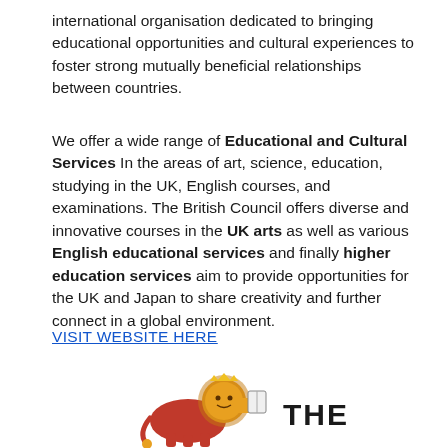international organisation dedicated to bringing educational opportunities and cultural experiences to foster strong mutually beneficial relationships between countries.
We offer a wide range of Educational and Cultural Services In the areas of art, science, education, studying in the UK, English courses, and examinations. The British Council offers diverse and innovative courses in the UK arts as well as various English educational services and finally higher education services aim to provide opportunities for the UK and Japan to share creativity and further connect in a global environment.
VISIT WEBSITE HERE
[Figure (logo): Logo with a lion figure in red and yellow holding a book, with text 'THE' beside it]